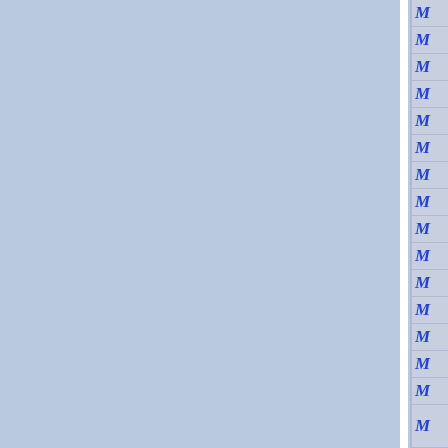[Figure (other): Page layout showing two large blue-grey panels separated by a white vertical divider, with a right-side column containing approximately 16 rows each showing a blue italic cursive letter M on a light grey background with horizontal dividers.]